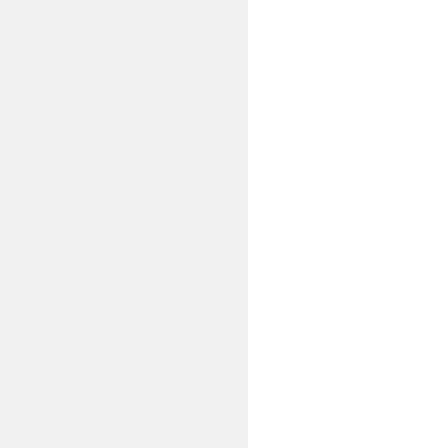[Figure (screenshot): Partial web form showing a truncated input field at top (cut off), a Website label with text input, a Comments (required) label with a large textarea, and a checkbox row with 'Notify me of new comments to...' text. Left half of the page is a grey sidebar.]
Website
Comments (required)
Notify me of new comments to